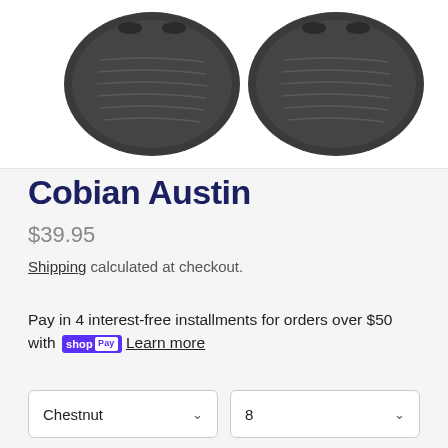[Figure (photo): Top-down view of two dark gray/charcoal sandal soles (Cobian Austin) showing textured rubber outsoles with wave-like tread patterns, on a white background.]
Cobian Austin
$39.95
Shipping calculated at checkout.
Pay in 4 interest-free installments for orders over $50 with shopPay Learn more
Chestnut  ∨    8  ∨